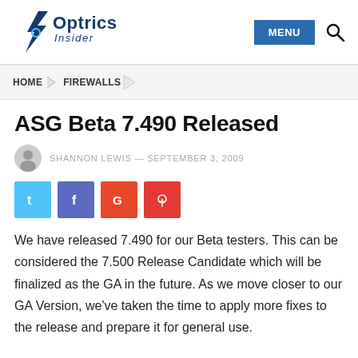[Figure (logo): Optrics Insider logo with lightning bolt icon and text]
HOME > FIREWALLS
ASG Beta 7.490 Released
SHANNON LEWIS — SEPTEMBER 3, 2009
[Figure (infographic): Social share buttons: Twitter (blue), Facebook (purple), Google+ (orange-red), Pinterest (red)]
We have released 7.490 for our Beta testers. This can be considered the 7.500 Release Candidate which will be finalized as the GA in the future. As we move closer to our GA Version, we've taken the time to apply more fixes to the release and prepare it for general use.